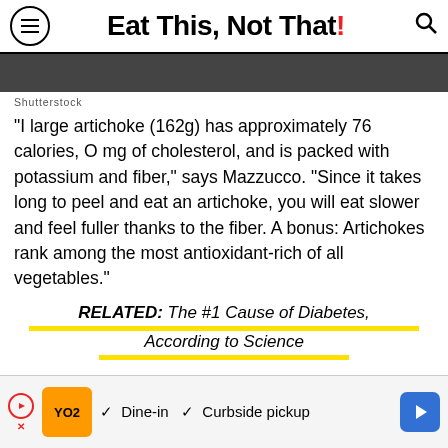Eat This, Not That!
Shutterstock
"I large artichoke (162g) has approximately 76 calories, O mg of cholesterol, and is packed with potassium and fiber," says Mazzucco. "Since it takes long to peel and eat an artichoke, you will eat slower and feel fuller thanks to the fiber. A bonus: Artichokes rank among the most antioxidant-rich of all vegetables."
RELATED: The #1 Cause of Diabetes, According to Science
[Figure (screenshot): Advertisement bar showing a restaurant ad with orange logo, play button, checkmarks for Dine-in and Curbside pickup, and a blue arrow button]